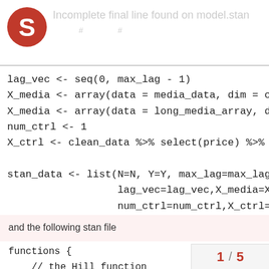Incomplete final line found on model.stan
[Figure (logo): Red circular logo with white S-like shape]
lag_vec <- seq(0, max_lag - 1)
X_media <- array(data = media_data, dim = c(3,1
X_media <- array(data = long_media_array, dim =
num_ctrl <- 1
X_ctrl <- clean_data %>% select(price) %>% as.v

stan_data <- list(N=N, Y=Y, max_lag=max_lag, nu
                  lag_vec=lag_vec,X_media=X_mec
                  num_ctrl=num_ctrl,X_ctrl=X_ct

m.stan <- stan(file = "model.stan",data = stan_
and the following stan file
functions {
    // the Hill function
    real Hill(real t, real ec,
       return 1 / (1 + (t / ec).
    }